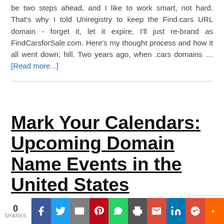be two steps ahead, and I like to work smart, not hard. That's why I told Uniregistry to keep the Find.cars URL domain - forget it, let it expire, I'll just re-brand as FindCarsforSale.com. Here's my thought process and how it all went down; hill. Two years ago, when .cars domains … [Read more...]
Mark Your Calendars: Upcoming Domain Name Events in the United States
June 21, 2017 By John Colascione — 2 Comments